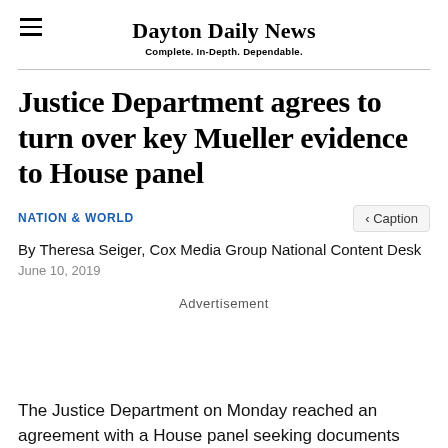Dayton Daily News — Complete. In-Depth. Dependable.
Justice Department agrees to turn over key Mueller evidence to House panel
NATION & WORLD
By Theresa Seiger, Cox Media Group National Content Desk
June 10, 2019
Advertisement
The Justice Department on Monday reached an agreement with a House panel seeking documents